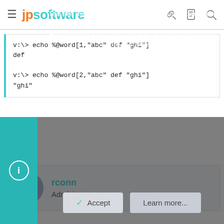jpsoftware
[Figure (screenshot): Code block showing two echo commands with %@word function: 'v:\> echo %@word[1,"abc" def "ghi"]' returning 'def', and 'v:\> echo %@word[2,"abc" def "ghi"]' returning '"ghi"']
rconn
Administrator
This site uses cookies to help personalise content, tailor your experience and to keep you logged in if you register.
By continuing to use this site, you are consenting to our use of cookies.